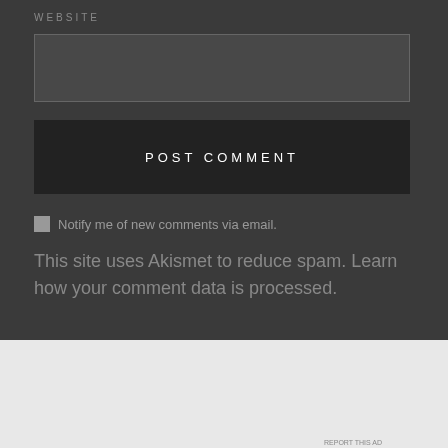WEBSITE
[Figure (screenshot): Empty text input field for website URL]
POST COMMENT
Notify me of new comments via email.
This site uses Akismet to reduce spam. Learn how your comment data is processed.
[Figure (screenshot): Close (X) button circular icon]
Advertisements
[Figure (infographic): DuckDuckGo advertisement banner: Search, browse, and email with more privacy. All in One Free App. DuckDuckGo logo on dark background.]